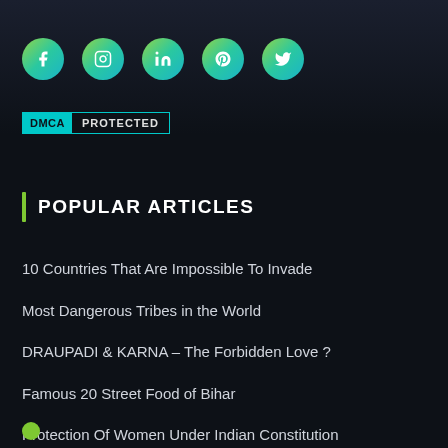[Figure (infographic): Row of 5 social media icon buttons with gradient green-to-teal circular backgrounds: Facebook, Instagram, LinkedIn, Pinterest, Twitter]
[Figure (logo): DMCA Protected badge with teal DMCA label and white PROTECTED text on dark background]
POPULAR ARTICLES
10 Countries That Are Impossible To Invade
Most Dangerous Tribes in the World
DRAUPADI & KARNA – The Forbidden Love ?
Famous 20 Street Food of Bihar
Protection Of Women Under Indian Constitution